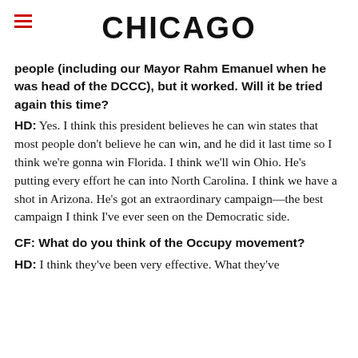CHICAGO
people (including our Mayor Rahm Emanuel when he was head of the DCCC), but it worked. Will it be tried again this time?
HD: Yes. I think this president believes he can win states that most people don't believe he can win, and he did it last time so I think we're gonna win Florida. I think we'll win Ohio. He's putting every effort he can into North Carolina. I think we have a shot in Arizona. He's got an extraordinary campaign—the best campaign I think I've ever seen on the Democratic side.
CF: What do you think of the Occupy movement?
HD: I think they've been very effective. What they've